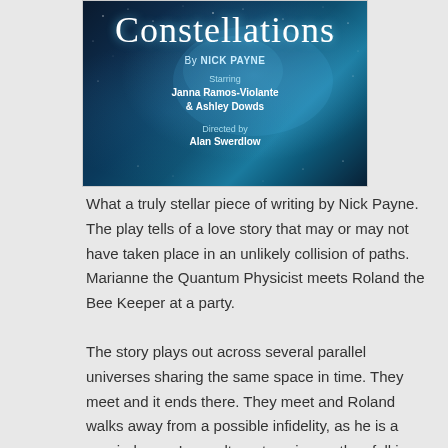[Figure (photo): Theater poster for 'Constellations' by Nick Payne, starring Janna Ramos-Violante & Ashley Dowds, directed by Alan Swerdlow. Dark blue nebula/starfield background with script title text in white.]
What a truly stellar piece of writing by Nick Payne. The play tells of a love story that may or may not have taken place in an unlikely collision of paths. Marianne the Quantum Physicist meets Roland the Bee Keeper at a party.
The story plays out across several parallel universes sharing the same space in time. They meet and it ends there. They meet and Roland walks away from a possible infidelity, as he is a married man. In an alternate universe they fall in love.